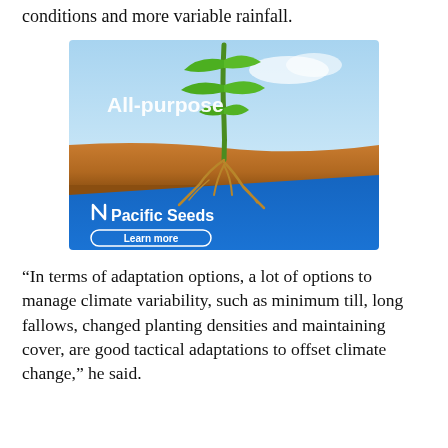conditions and more variable rainfall.
[Figure (photo): Advertisement for Pacific Seeds showing a corn seedling with exposed roots in cross-section soil, with 'All-purpose' text overlay and a blue banner with Pacific Seeds logo and 'Learn more' button.]
“In terms of adaptation options, a lot of options to manage climate variability, such as minimum till, long fallows, changed planting densities and maintaining cover, are good tactical adaptations to offset climate change,” he said.